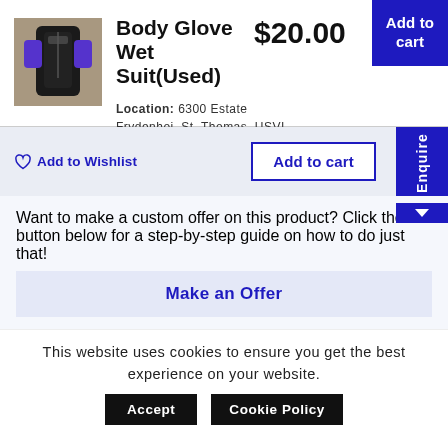[Figure (photo): Photo of a black and purple Body Glove wet suit on a hanger]
Body Glove Wet Suit(Used)
$20.00
Add to cart
Location: 6300 Estate Frydenhoj, St. Thomas, USVI
SKU: VIPT220204212
Add to Wishlist
Add to cart
Enquire
Want to make a custom offer on this product? Click the button below for a step-by-step guide on how to do just that!
Make an Offer
This website uses cookies to ensure you get the best experience on your website.
Accept
Cookie Policy